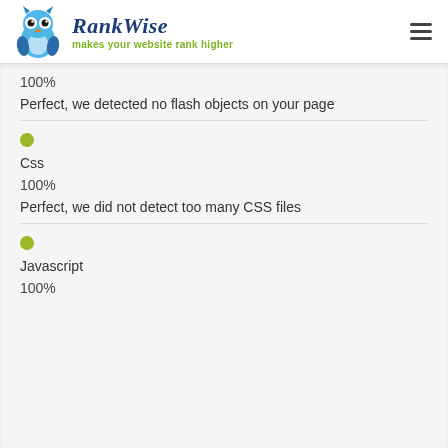RankWise makes your website rank higher
100%
Perfect, we detected no flash objects on your page
Css
100%
Perfect, we did not detect too many CSS files
Javascript
100%